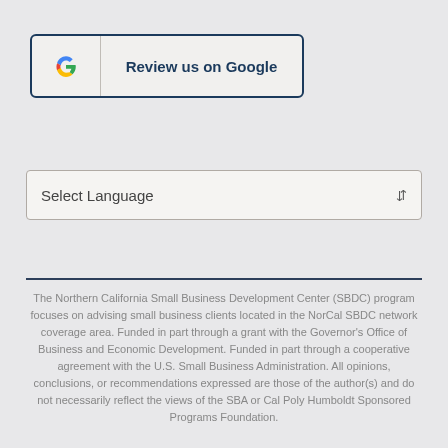[Figure (logo): Google Review button with Google G logo and text 'Review us on Google']
Select Language
The Northern California Small Business Development Center (SBDC) program focuses on advising small business clients located in the NorCal SBDC network coverage area. Funded in part through a grant with the Governor's Office of Business and Economic Development. Funded in part through a cooperative agreement with the U.S. Small Business Administration. All opinions, conclusions, or recommendations expressed are those of the author(s) and do not necessarily reflect the views of the SBA or Cal Poly Humboldt Sponsored Programs Foundation.